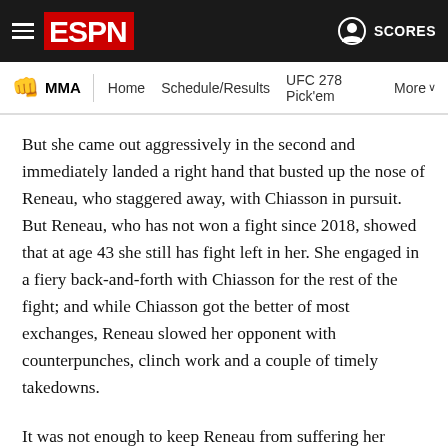ESPN MMA — Home | Schedule/Results | UFC 278 Pick'em | More | SCORES
But she came out aggressively in the second and immediately landed a right hand that busted up the nose of Reneau, who staggered away, with Chiasson in pursuit. But Reneau, who has not won a fight since 2018, showed that at age 43 she still has fight left in her. She engaged in a fiery back-and-forth with Chiasson for the rest of the fight; and while Chiasson got the better of most exchanges, Reneau slowed her opponent with counterpunches, clinch work and a couple of timely takedowns.
It was not enough to keep Reneau from suffering her fourth straight loss. The fighter out of Visalia, California, was a handful right until the final horn. But Chiasson was up to the task.
“I really expected to win in the second…